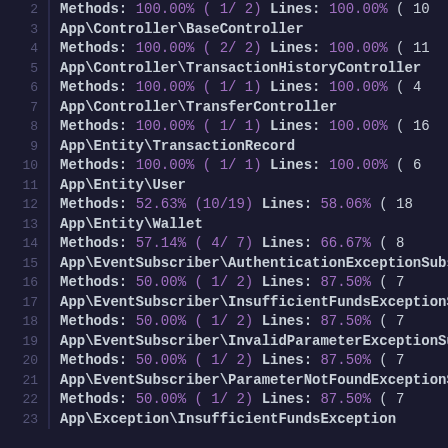2  Methods: 100.00% ( 1/ 2)   Lines: 100.00% (10
3  App\Controller\BaseController
4     Methods: 100.00% ( 2/ 2)   Lines: 100.00% ( 11
5  App\Controller\TransactionHistoryController
6     Methods: 100.00% ( 1/ 1)   Lines: 100.00% ( 4
7  App\Controller\TransferController
8     Methods: 100.00% ( 1/ 1)   Lines: 100.00% ( 16
9  App\Entity\TransactionRecord
10    Methods: 100.00% ( 1/ 1)   Lines: 100.00% ( 6
11 App\Entity\User
12    Methods: 52.63% (10/19)   Lines: 58.06% ( 18
13 App\Entity\Wallet
14    Methods: 57.14% ( 4/ 7)   Lines: 66.67% ( 8
15 App\EventSubscriber\AuthenticationExceptionSubsc
16    Methods: 50.00% ( 1/ 2)   Lines: 87.50% ( 7
17 App\EventSubscriber\InsufficientFundsExceptionSu
18    Methods: 50.00% ( 1/ 2)   Lines: 87.50% ( 7
19 App\EventSubscriber\InvalidParameterExceptionSub
20    Methods: 50.00% ( 1/ 2)   Lines: 87.50% ( 7
21 App\EventSubscriber\ParameterNotFoundExceptionSu
22    Methods: 50.00% ( 1/ 2)   Lines: 87.50% ( 7
23 App\Exception\InsufficientFundsException